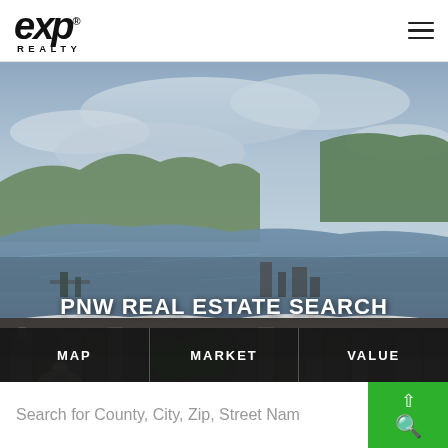[Figure (logo): eXp Realty logo in black italic text with REALTY lettering below]
[Figure (photo): Aerial photograph of a Pacific Northwest city with a river/bay, urban waterfront, downtown buildings, and cloudy sky (appears to be Olympia or Tacoma, WA)]
PNW REAL ESTATE SEARCH
MAP
MARKET
VALUE
Search for County, City, Zip, Street Nam